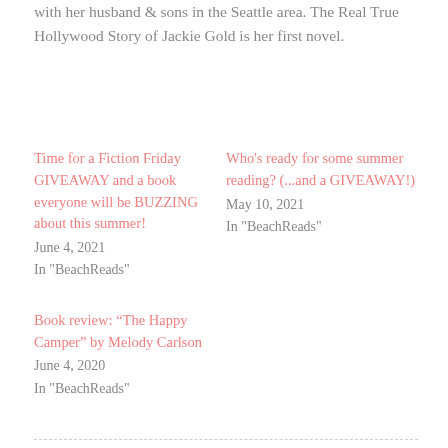with her husband & sons in the Seattle area. The Real True Hollywood Story of Jackie Gold is her first novel.
Time for a Fiction Friday GIVEAWAY and a book everyone will be BUZZING about this summer!
June 4, 2021
In "BeachReads"
Who's ready for some summer reading? (...and a GIVEAWAY!)
May 10, 2021
In "BeachReads"
Book review: “The Happy Camper” by Melody Carlson
June 4, 2020
In "BeachReads"